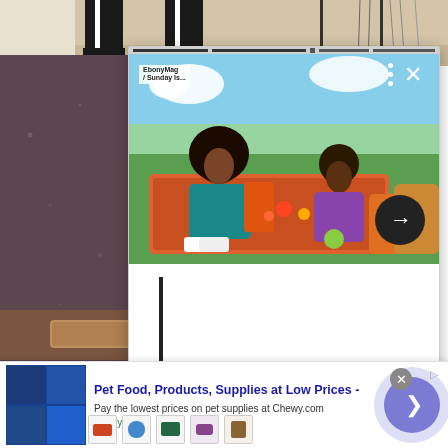[Figure (photo): Top portion of a fashion photo showing legs in black pants with white stripes and boots, standing near a glass table]
[Figure (screenshot): A popup video card overlay showing two people at a picnic on grass with flowers and food. Has a progress bar at top, logo, close X button, three-dot menu, and a circular arrow button.]
[Figure (photo): Dark textured surface (possibly slate or dark stone) with a wooden tray visible at the bottom]
[Figure (infographic): Advertisement banner for Chewy.com: 'Pet Food, Products, Supplies at Low Prices -' with description 'Pay the lowest prices on pet supplies at Chewy.com' and domain 'chewy.com'. Has thumbnail image, product icons, and a circular CTA button.]